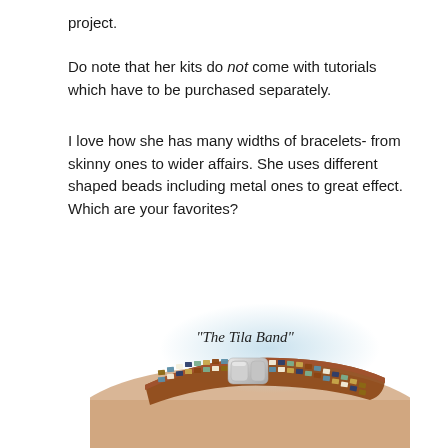project.
Do note that her kits do not come with tutorials which have to be purchased separately.
I love how she has many widths of bracelets- from skinny ones to wider affairs. She uses different shaped beads including metal ones to great effect.  Which are your favorites?
[Figure (photo): Photo of a beaded leather bracelet labeled 'The Tila Band', featuring a multi-colored tila bead pattern with a silver magnetic clasp, resting on a sandy surface with a light blue background.]